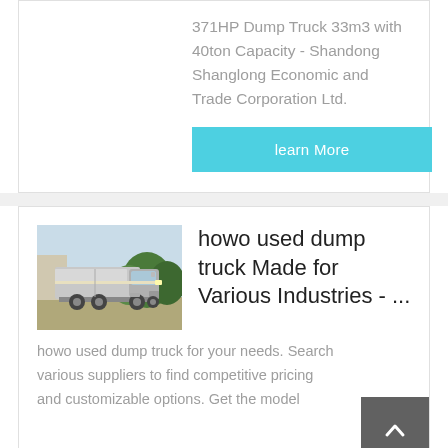371HP Dump Truck 33m3 with 40ton Capacity - Shandong Shanglong Economic and Trade Corporation Ltd.
learn More
howo used dump truck Made for Various Industries - ...
[Figure (photo): A silver Howo truck (tractor unit) parked outdoors with trees in the background.]
howo used dump truck for your needs. Search various suppliers to find competitive pricing and customizable options. Get the model